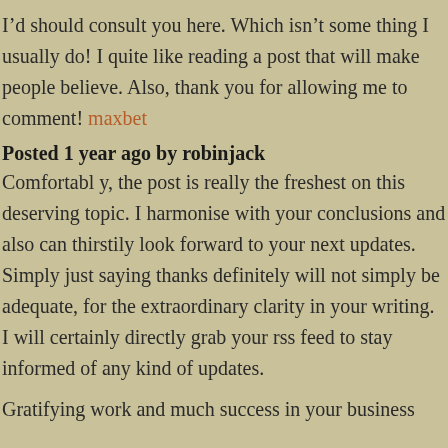I'd should consult you here. Which isn't some thing I usually do! I quite like reading a post that will make people believe. Also, thank you for allowing me to comment! maxbet
Posted 1 year ago by robinjack
Comfortabl y, the post is really the freshest on this deserving topic. I harmonise with your conclusions and also can thirstily look forward to your next updates. Simply just saying thanks definitely will not simply be adequate, for the extraordinary clarity in your writing. I will certainly directly grab your rss feed to stay informed of any kind of updates.
Gratifying work and much success in your business